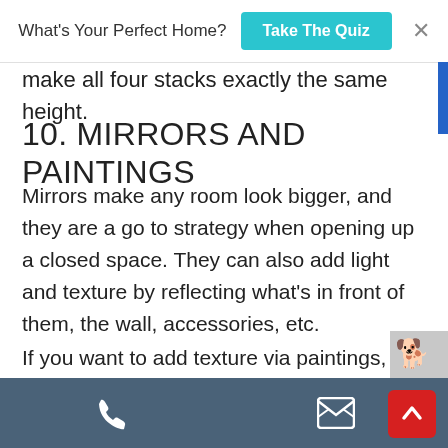What's Your Perfect Home? Take The Quiz ×
make all four stacks exactly the same height.
10. MIRRORS AND PAINTINGS
Mirrors make any room look bigger, and they are a go to strategy when opening up a closed space. They can also add light and texture by reflecting what's in front of them, the wall, accessories, etc.
If you want to add texture via paintings, oil paintings that utilise a spatula rather than a brush are a great choice. This technique
☎ ✉ ∧